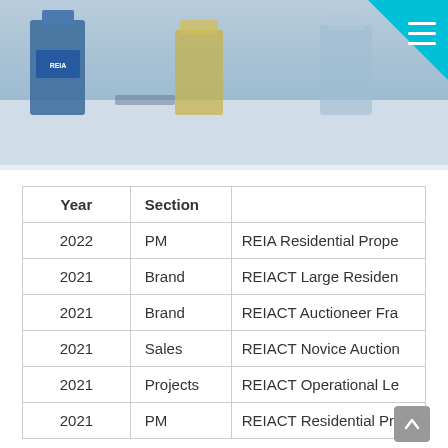[Figure (photo): Photo of glass trophies/awards on a table, including a REIA branded award. A teal triangular corner element with a hamburger menu icon is visible in the top right.]
| Year | Section |  |
| --- | --- | --- |
| 2022 | PM | REIA Residential Prope |
| 2021 | Brand | REIACT Large Residen |
| 2021 | Brand | REIACT Auctioneer Fra |
| 2021 | Sales | REIACT Novice Auction |
| 2021 | Projects | REIACT Operational Le |
| 2021 | PM | REIACT Residential Pr |